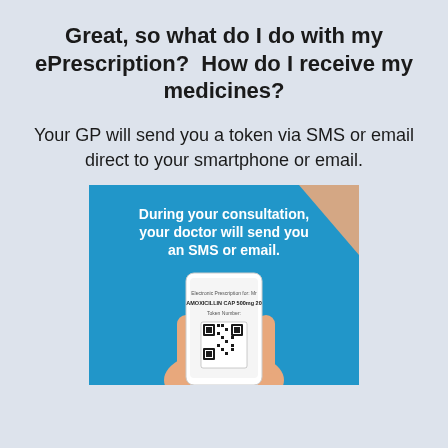Great, so what do I do with my ePrescription?  How do I receive my medicines?
Your GP will send you a token via SMS or email direct to your smartphone or email.
[Figure (illustration): Blue banner with white bold text reading 'During your consultation, your doctor will send you an SMS or email.' Below is an illustration of a hand holding a smartphone displaying an electronic prescription with a QR code. An orange decorative shape appears in the top-right corner.]